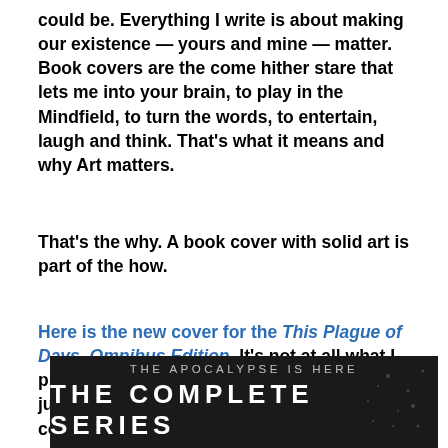could be. Everything I write is about making our existence — yours and mine — matter. Book covers are the come hither stare that lets me into your brain, to play in the Mindfield, to turn the words, to entertain, laugh and think. That's what it means and why Art matters.
That's the why. A book cover with solid art is part of the how.
Here is the new cover for the This Plague of Days, Omnibus Edition. It's not at all what I pictured for the Omnibus cover. It's better. I just let Kit do what he does best so I can concentrate on what I do best.
[Figure (photo): Book cover image with dark background showing stars, text reading 'THE APOCALYPSE IS HERE' and 'THE COMPLETE SERIES' in large bold white letters]